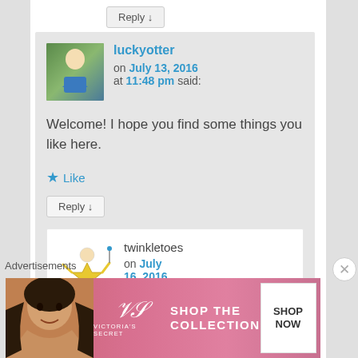Reply ↓
luckyotter on July 13, 2016 at 11:48 pm said:
[Figure (photo): Avatar photo of luckyotter - woman in blue top outdoors]
Welcome! I hope you find some things you like here.
★ Like
Reply ↓
[Figure (illustration): twinkletoes avatar - cartoon figure illustration]
twinkletoes on July 16, 2016
Advertisements
[Figure (other): Victoria's Secret advertisement banner - Shop The Collection, Shop Now]